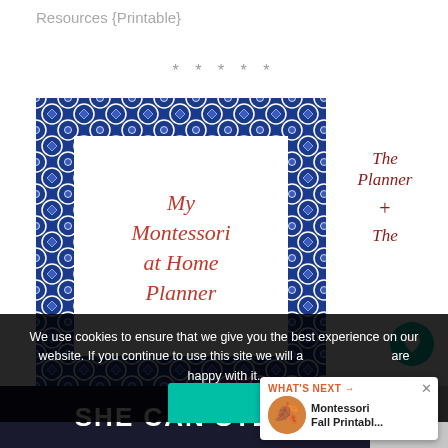Resources {Printable}
* * * * *
[Figure (illustration): My Montessori at Home Planner book cover with blue geometric border pattern and red italic text on white inner card]
The Planner + The
We use cookies to ensure that we give you the best experience on our website. If you continue to use this site we will assume that you are happy with it.
WHAT'S NEXT → Montessori Fall Printabl...
[Figure (screenshot): Bottom advertisement banner reading SHE CAN STEM in white bold text on dark navy background]
SHE CAN STEM